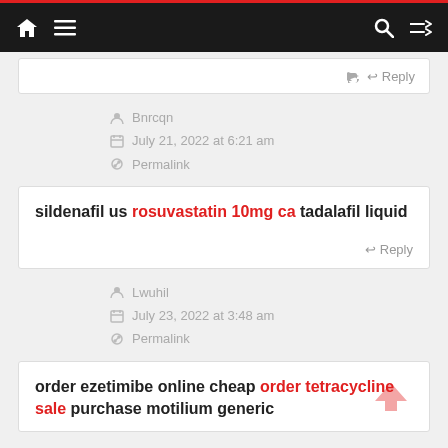Navigation bar with home, menu, search, shuffle icons
Reply
Bnrcqn
July 21, 2022 at 6:21 am
Permalink
sildenafil us rosuvastatin 10mg ca tadalafil liquid
Reply
Lwuhil
July 23, 2022 at 3:48 am
Permalink
order ezetimibe online cheap order tetracycline sale purchase motilium generic